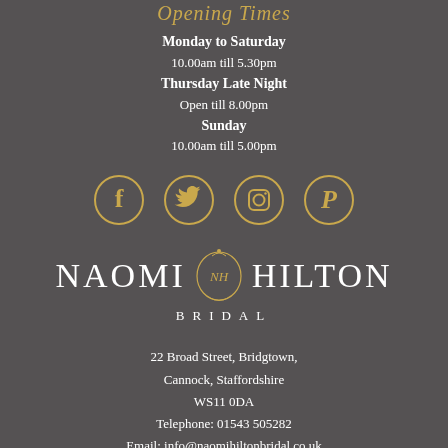Opening Times
Monday to Saturday
10.00am till 5.30pm
Thursday Late Night
Open till 8.00pm
Sunday
10.00am till 5.00pm
[Figure (illustration): Four social media icon circles (Facebook, Twitter, Instagram, Pinterest) in gold/amber outline style on dark grey background]
[Figure (logo): Naomi Hilton Bridal logo in white serif lettering with gold NH crest emblem in centre]
22 Broad Street, Bridgtown,
Cannock, Staffordshire
WS11 0DA
Telephone: 01543 505282
Email: info@naomihiltonbridal.co.uk